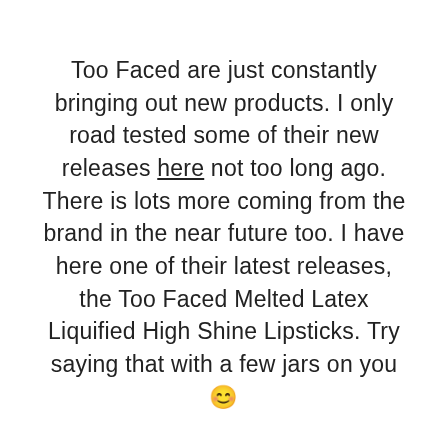Too Faced are just constantly bringing out new products. I only road tested some of their new releases here not too long ago. There is lots more coming from the brand in the near future too. I have here one of their latest releases, the Too Faced Melted Latex Liquified High Shine Lipsticks. Try saying that with a few jars on you 😊